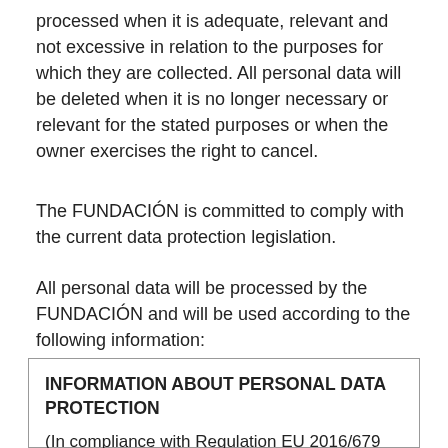processed when it is adequate, relevant and not excessive in relation to the purposes for which they are collected. All personal data will be deleted when it is no longer necessary or relevant for the stated purposes or when the owner exercises the right to cancel.
The FUNDACIÓN is committed to comply with the current data protection legislation.
All personal data will be processed by the FUNDACIÓN and will be used according to the following information:
INFORMATION ABOUT PERSONAL DATA PROTECTION
(In compliance with Regulation EU 2016/679 on